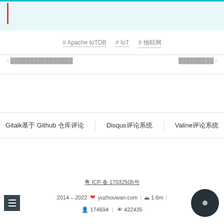[Figure (screenshot): Top teal/cyan header bar with red vertical left accent bar]
# Apache IoTDB  # IoT  # 物联网
← 上一篇文章标题在这里        下一篇文章 →
Gitalk基于 Github 仓库评论    Disqus评论系统    Valine评论系统
粤 ICP 备 17032505号
2014 – 2022 ❤ yuzhouwan.com | 1.6m | 174694 | 422435